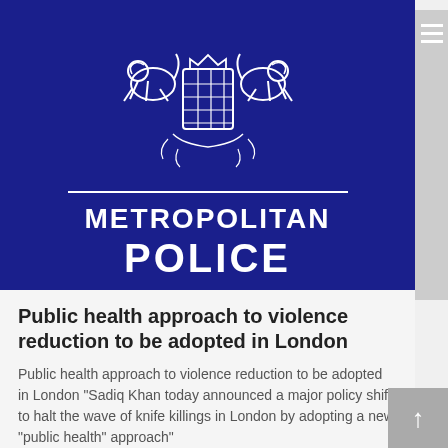[Figure (logo): Metropolitan Police logo on dark blue background: royal crest with lions and shield above two horizontal lines with 'METROPOLITAN POLICE' text in white bold letters]
Public health approach to violence reduction to be adopted in London
Public health approach to violence reduction to be adopted in London "Sadiq Khan today announced a major policy shift to halt the wave of knife killings in London by adopting a new "public health" approach"